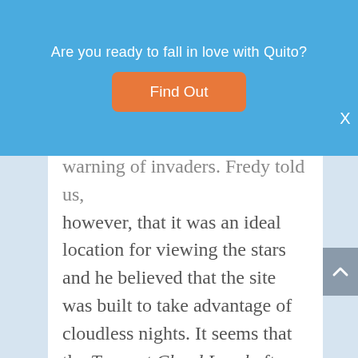[Figure (screenshot): Blue banner overlay with text 'Are you ready to fall in love with Quito?' and an orange 'Find Out' button, with a close X on the right edge.]
warning of invaders. Fredy told us, however, that it was an ideal location for viewing the stars and he believed that the site was built to take advantage of cloudless nights. It seems that the Town at Cloud Level often sits just above the cloud layer. He added another interesting theory. The temple floor was pockmarked and the holes could hold water. He believed that they might serve as reflecting pools and at night they